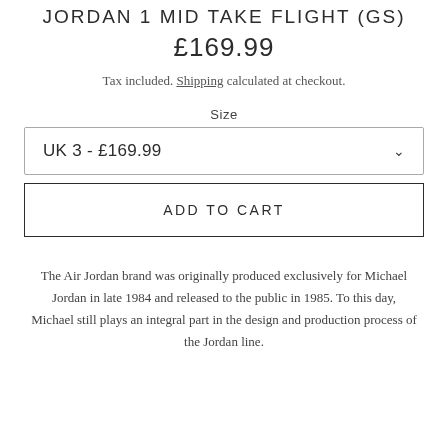JORDAN 1 MID TAKE FLIGHT (GS)
£169.99
Tax included. Shipping calculated at checkout.
Size
UK 3 - £169.99
ADD TO CART
The Air Jordan brand was originally produced exclusively for Michael Jordan in late 1984 and released to the public in 1985. To this day, Michael still plays an integral part in the design and production process of the Jordan line.